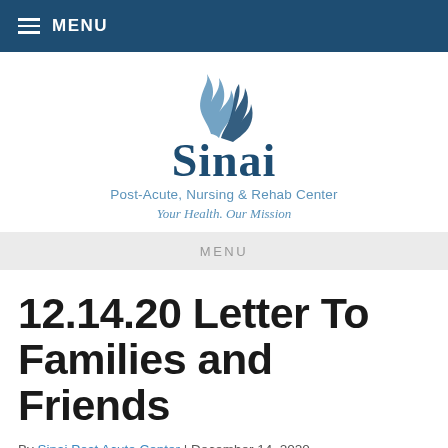MENU
[Figure (logo): Sinai Post-Acute, Nursing & Rehab Center logo with stylized flame/wave graphic above the word Sinai and tagline Your Health. Our Mission]
MENU
12.14.20 Letter To Families and Friends
By Sinai Post Acute Center | December 14, 2020